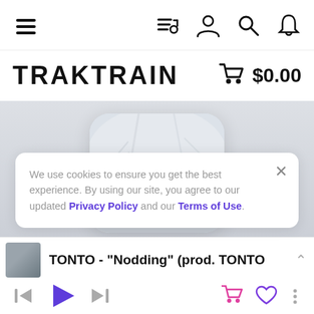Navigation bar with menu, playlist, user, search, and bell icons
TRAKTRAIN  $0.00
[Figure (screenshot): Album art card with winter/snowy nature scene, shown partially behind cookie consent banner]
We use cookies to ensure you get the best experience. By using our site, you agree to our updated Privacy Policy and our Terms of Use.
TONTO - "Nodding" (prod. TONTO
[Figure (other): Music player controls row: skip-back, play, skip-forward buttons on left; pink cart, purple heart, and three-dot menu on right]